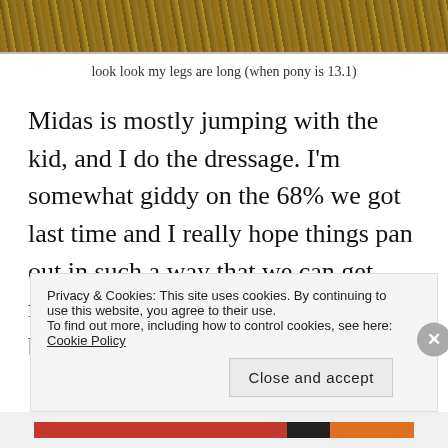[Figure (photo): Partial photo of sandy/earthy ground with diagonal stripe patterns, cropped at top of page]
look look my legs are long (when pony is 13.1)
Midas is mostly jumping with the kid, and I do the dressage. I'm somewhat giddy on the 68% we got last time and I really hope things pan out in such a way that we can get more of a warmup and score even better in two weeks' time.
Privacy & Cookies: This site uses cookies. By continuing to use this website, you agree to their use. To find out more, including how to control cookies, see here: Cookie Policy
Close and accept